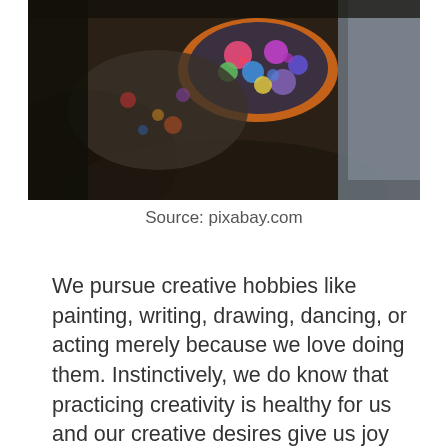[Figure (photo): Close-up photo of a colorful painted art palette with vibrant colors, surrounded by rocks and art supplies in a dark, textured environment.]
Source: pixabay.com
We pursue creative hobbies like painting, writing, drawing, dancing, or acting merely because we love doing them. Instinctively, we do know that practicing creativity is healthy for us and our creative desires give us joy and fulfillment. But can we benefit mentally and emotionally from being creative? Indeed, art therapy makes us feel unburdened and happy at the end of the day, but what are other benefits that we can get from it? Can it help